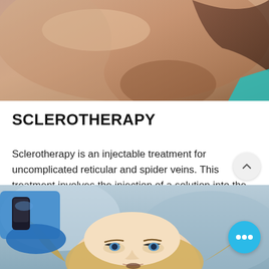[Figure (photo): Close-up photo of a person's underarm/arm area with skin tones visible, teal/turquoise clothing at the edge. Medical context for sclerotherapy.]
SCLEROTHERAPY
Sclerotherapy is an injectable treatment for uncomplicated reticular and spider veins. This treatment involves the injection of a solution into the affected areas to safely eliminated unsightly leg veins.
[Figure (photo): Photo of a blonde woman lying back, looking upward with mouth slightly open, while a gloved hand holds a device near her face. Medical/cosmetic procedure context.]